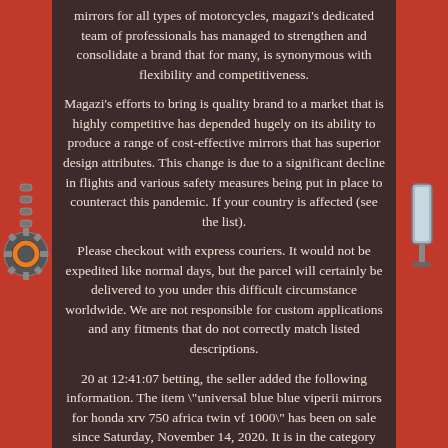mirrors for all types of motorcycles, magazi's dedicated team of professionals has managed to strengthen and consolidate a brand that for many, is synonymous with flexibility and competitiveness.
Magazi's efforts to bring is quality brand to a market that is highly competitive has depended hugely on its ability to produce a range of cost-effective mirrors that has superior design attributes. This change is due to a significant decline in flights and various safety measures being put in place to counteract this pandemic. If your country is affected (see the list).
Please checkout with express couriers. It would not be expedited like normal days, but the parcel will certainly be delivered to you under this difficult circumstance worldwide. We are not responsible for custom applications and any fitments that do not correctly match listed descriptions.
20 at 12:41:07 betting, the seller added the following information. The item \"universal blue blue viperii mirrors for honda xrv 750 africa twin vf 1000\" has been on sale since Saturday, November 14, 2020. It is in the category \"auto, motorcycle - parts, accessories-